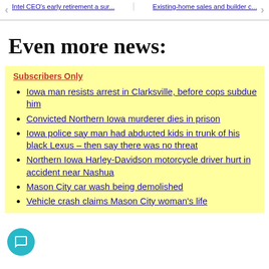Intel CEO's early retirement a sur... | Existing-home sales and builder c...
Even more news:
Subscribers Only
Iowa man resists arrest in Clarksville, before cops subdue him
Convicted Northern Iowa murderer dies in prison
Iowa police say man had abducted kids in trunk of his black Lexus – then say there was no threat
Northern Iowa Harley-Davidson motorcycle driver hurt in accident near Nashua
Mason City car wash being demolished
Vehicle crash claims Mason City woman's life